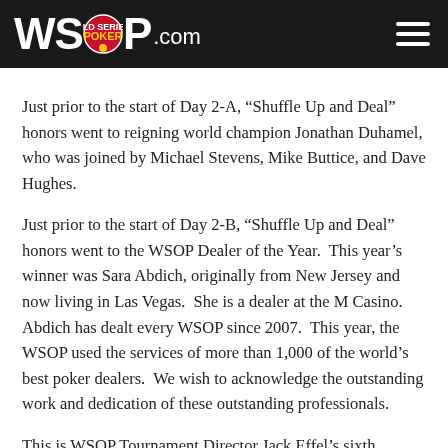WSOP.COM
Just prior to the start of Day 2-A, “Shuffle Up and Deal” honors went to reigning world champion Jonathan Duhamel, who was joined by Michael Stevens, Mike Buttice, and Dave Hughes.
Just prior to the start of Day 2-B, “Shuffle Up and Deal” honors went to the WSOP Dealer of the Year.  This year’s winner was Sara Abdich, originally from New Jersey and now living in Las Vegas.  She is a dealer at the M Casino.  Abdich has dealt every WSOP since 2007.  This year, the WSOP used the services of more than 1,000 of the world’s best poker dealers.  We wish to acknowledge the outstanding work and dedication of these outstanding professionals.
This is WSOP Tournament Director Jack Effel’s sixth consecutive year to oversee tournament operations.  He has supervised more WSOP tournaments and awarded more prize